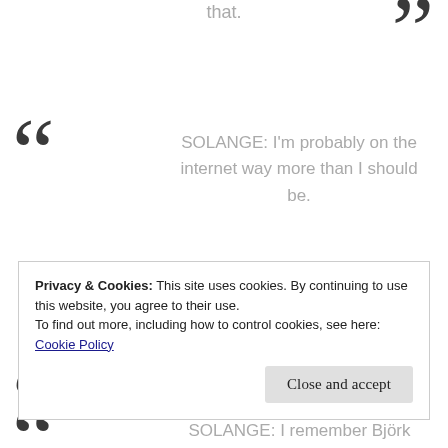that.
SOLANGE: I'm probably on the internet way more than I should be.
SOLANGE: I remember Björk saying that she felt like, no matter what stage in her career, if a man is credited on something that
Privacy & Cookies: This site uses cookies. By continuing to use this website, you agree to their use. To find out more, including how to control cookies, see here: Cookie Policy
Close and accept